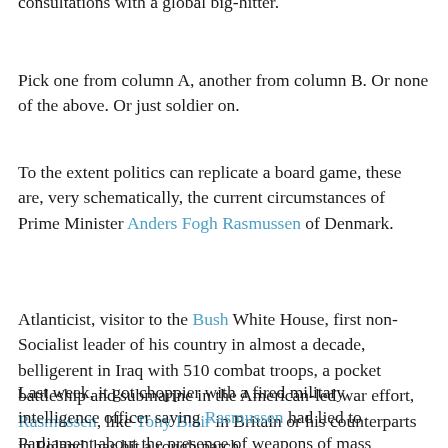consultations with a global big-hitter.
Pick one from column A, another from column B. Or none of the above. Or just soldier on.
To the extent politics can replicate a board game, these are, very schematically, the current circumstances of Prime Minister Anders Fogh Rasmussen of Denmark.
Atlanticist, visitor to the Bush White House, first non-Socialist leader of his country in almost a decade, belligerent in Iraq with 510 combat troops, a pocket battleship and submarine in the American-led war effort, Rasmussen, like Tony Blair in Britain or his counterparts in Poland, has hit a rough patch.
Last week, it got choppier with a fired military intelligence officer saying Rasmussen had lied to Parliament about the presence of weapons of mass destruction in Iraq — a charge denied by